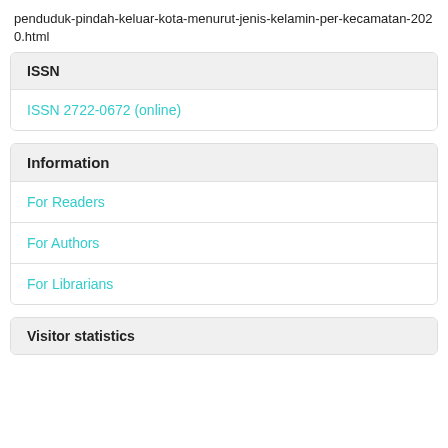penduduk-pindah-keluar-kota-menurut-jenis-kelamin-per-kecamatan-2020.html
ISSN
ISSN 2722-0672 (online)
Information
For Readers
For Authors
For Librarians
Visitor statistics